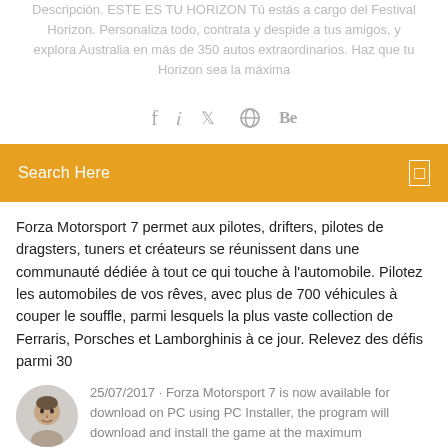Descripción. ESTE ES TU HORIZON Tú estás a cargo del Festival Horizon. Personaliza todo, contrata y despide a tus amigos, y explora Australia en más de 350 autos extraordinarios. Haz que tu Horizon sea la máxima
[Figure (other): Social media icons: Facebook, Twitter, a circular icon, and Behance]
Search Here
Forza Motorsport 7 permet aux pilotes, drifters, pilotes de dragsters, tuners et créateurs se réunissent dans une communauté dédiée à tout ce qui touche à l'automobile. Pilotez les automobiles de vos rêves, avec plus de 700 véhicules à couper le souffle, parmi lesquels la plus vaste collection de Ferraris, Porsches et Lamborghinis à ce jour. Relevez des défis parmi 30
25/07/2017 · Forza Motorsport 7 is now available for download on PC using PC Installer, the program will download and install the game at the maximum